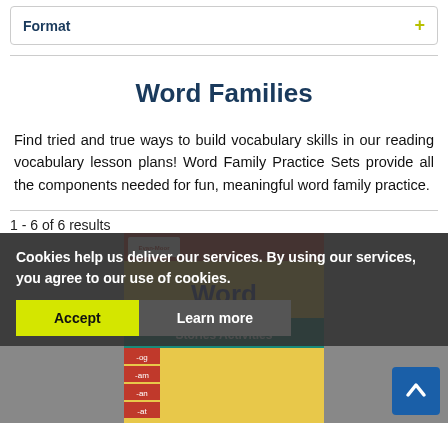Format +
Word Families
Find tried and true ways to build vocabulary skills in our reading vocabulary lesson plans! Word Family Practice Sets provide all the components needed for fun, meaningful word family practice.
1 - 6 of 6 results
[Figure (photo): Word Family Stories and Activities book cover with -og, -am, -an, -at word family tabs]
Cookies help us deliver our services. By using our services, you agree to our use of cookies.